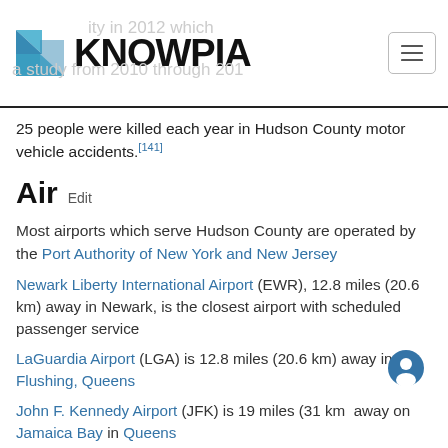KNOWPIA
25 people were killed each year in Hudson County motor vehicle accidents.[141]
Air  Edit
Most airports which serve Hudson County are operated by the Port Authority of New York and New Jersey
Newark Liberty International Airport (EWR), 12.8 miles (20.6 km) away in Newark, is the closest airport with scheduled passenger service
LaGuardia Airport (LGA) is 12.8 miles (20.6 km) away in Flushing, Queens
John F. Kennedy Airport (JFK) is 19 miles (31 km) away on Jamaica Bay in Queens
Teterboro Airport, in the Hackensack Meadowlands